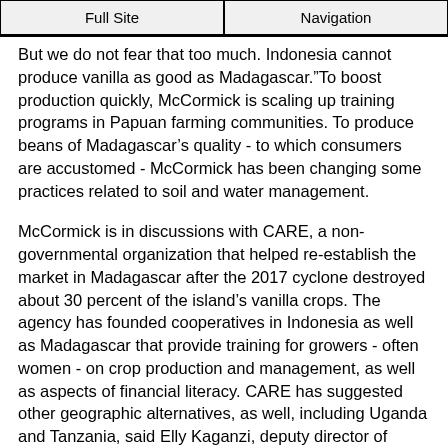Full Site | Navigation
But we do not fear that too much. Indonesia cannot produce vanilla as good as Madagascar.”To boost production quickly, McCormick is scaling up training programs in Papuan farming communities. To produce beans of Madagascar’s quality - to which consumers are accustomed - McCormick has been changing some practices related to soil and water management.
McCormick is in discussions with CARE, a non-governmental organization that helped re-establish the market in Madagascar after the 2017 cyclone destroyed about 30 percent of the island’s vanilla crops. The agency has founded cooperatives in Indonesia as well as Madagascar that provide training for growers - often women - on crop production and management, as well as aspects of financial literacy. CARE has suggested other geographic alternatives, as well, including Uganda and Tanzania, said Elly Kaganzi, deputy director of CARE’s agriculture & market systems.